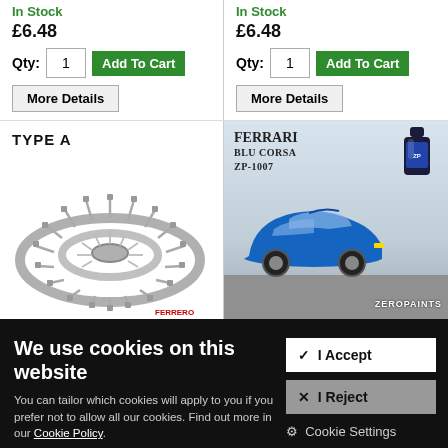In Stock
£6.48
Qty: 1  Add To Cart
More Details
In Stock
£6.48
Qty: 1  Add To Cart
More Details
[Figure (photo): TYPE A circular sprue/parts holder product, grey plastic ring with multiple pins]
[Figure (photo): Ferrari Blu Corsa ZP-1007 Zero Paints product photo showing blue Ferrari car and paint bottle]
We use cookies on this website
You can tailor which cookies will apply to you if you prefer not to allow all our cookies. Find out more in our Cookie Policy.
✔ I Accept
✖ I Reject
⚙ Cookie Settings